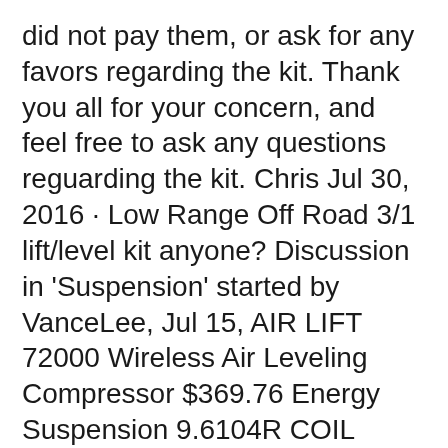did not pay them, or ask for any favors regarding the kit. Thank you all for your concern, and feel free to ask any questions reguarding the kit. Chris Jul 30, 2016 · Low Range Off Road 3/1 lift/level kit anyone? Discussion in 'Suspension' started by VanceLee, Jul 15, AIR LIFT 72000 Wireless Air Leveling Compressor $369.76 Energy Suspension 9.6104R COIL SPRING ISOLATOR SET $15.11 Toyota Tundra Forum;
Do 20x10 -19 wheels with 33"x12.5" tires fit on a 2017 Toyota Tundra 4WD Low Range Off-Road Leveling Kit? Yes they do! This 2017 Toyota Tundra 4WD is running Ballistic Rage 20x10 -19 wheels Nitto Ridge Grappler 33"x12.5"